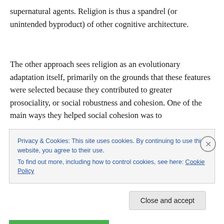supernatural agents. Religion is thus a spandrel (or unintended byproduct) of other cognitive architecture.
The other approach sees religion as an evolutionary adaptation itself, primarily on the grounds that these features were selected because they contributed to greater prosociality, or social robustness and cohesion. One of the main ways they helped social cohesion was to
Privacy & Cookies: This site uses cookies. By continuing to use this website, you agree to their use.
To find out more, including how to control cookies, see here: Cookie Policy
Close and accept